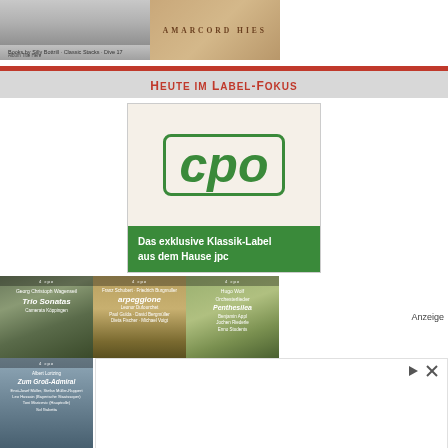[Figure (photo): Two album cover thumbnails at top - one black and white and one sepia/tan colored with text 'AMARCORD HIES']
Heute im Label-Fokus
[Figure (logo): CPO label advertisement - green cpo logo with text 'Das exklusive Klassik-Label aus dem Hause jpc']
[Figure (photo): Three CPO album covers in a row: Georg Christoph Wagenseil 'Trio Sonatas', Franz Schubert/Friedrich Burgmuller 'Arpeggione' by Leonor Dufourchet, Hugo Wolf 'Orchesterlieder Penthesilea']
Anzeige
[Figure (photo): Album cover: Albert Lortzing 'Zum Groß-Admiral' with BR logo]
[Figure (advertisement): Advertisement block with icons and large text 'Mens Fat Tire']